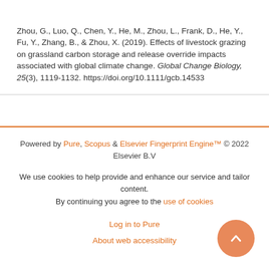Zhou, G., Luo, Q., Chen, Y., He, M., Zhou, L., Frank, D., He, Y., Fu, Y., Zhang, B., & Zhou, X. (2019). Effects of livestock grazing on grassland carbon storage and release override impacts associated with global climate change. Global Change Biology, 25(3), 1119-1132. https://doi.org/10.1111/gcb.14533
Powered by Pure, Scopus & Elsevier Fingerprint Engine™ © 2022 Elsevier B.V

We use cookies to help provide and enhance our service and tailor content. By continuing you agree to the use of cookies

Log in to Pure

About web accessibility